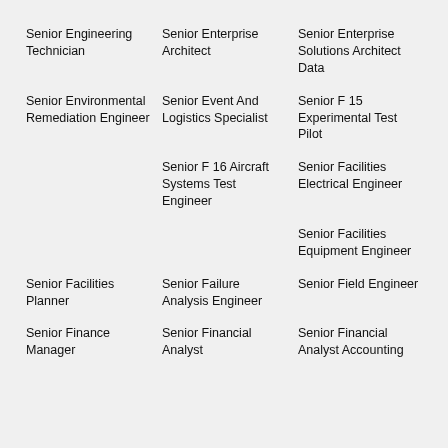Senior Engineering Technician
Senior Enterprise Architect
Senior Enterprise Solutions Architect Data
Senior Environmental Remediation Engineer
Senior Event And Logistics Specialist
Senior F 15 Experimental Test Pilot
Senior F 16 Aircraft Systems Test Engineer
Senior Facilities Electrical Engineer
Senior Facilities Equipment Engineer
Senior Facilities Planner
Senior Failure Analysis Engineer
Senior Field Engineer
Senior Finance Manager
Senior Financial Analyst
Senior Financial Analyst Accounting